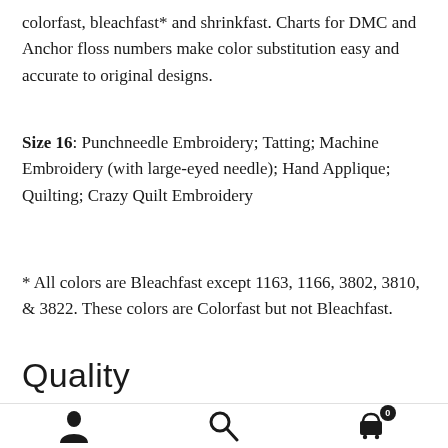colorfast, bleachfast* and shrinkfast. Charts for DMC and Anchor floss numbers make color substitution easy and accurate to original designs.
Size 16: Punchneedle Embroidery; Tatting; Machine Embroidery (with large-eyed needle); Hand Applique; Quilting; Crazy Quilt Embroidery
* All colors are Bleachfast except 1163, 1166, 3802, 3810, & 3822. These colors are Colorfast but not Bleachfast.
Quality
User icon, Search icon, Cart icon with badge 0